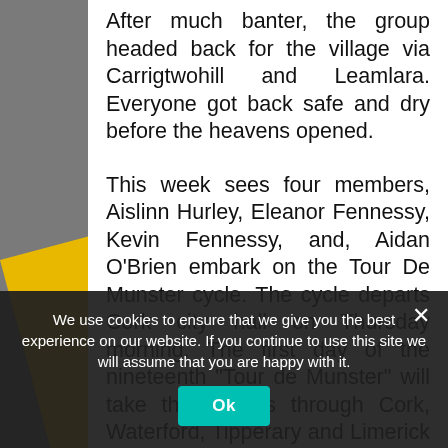After much banter, the group headed back for the village via Carrigtwohill and Leamlara. Everyone got back safe and dry before the heavens opened.
This week sees four members, Aislinn Hurley, Eleanor Fennessy, Kevin Fennessy, and, Aidan O'Brien embark on the Tour De Munster cycle. The cycle departs Cork city hall on Thursday morning. The first day of the nineteenth “Tour de Munster” will take the cyclists through Cork, Waterford, Tipperary and Limerick and on to Killaloe, County Clare. Day Two, they will go through Limerick, Clare, and North Kerry to
We use cookies to ensure that we give you the best experience on our website. If you continue to use this site we will assume that you are happy with it.